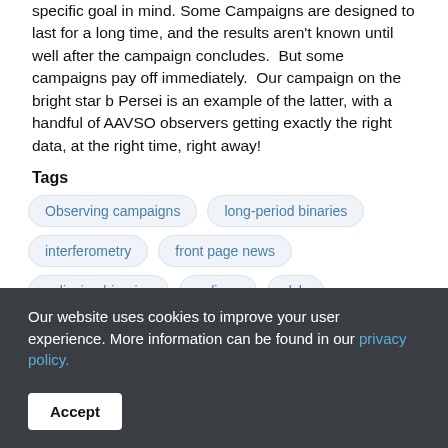specific goal in mind. Some Campaigns are designed to last for a long time, and the results aren't known until well after the campaign concludes.  But some campaigns pay off immediately.  Our campaign on the bright star b Persei is an example of the latter, with a handful of AAVSO observers getting exactly the right data, at the right time, right away!
Tags
Observing campaigns
long-period binaries
interferometry
front page news
eclipsing binaries
eclipse
dslr
bright stars
binaries
b Per
Read more
Our website uses cookies to improve your user experience. More information can be found in our privacy policy.